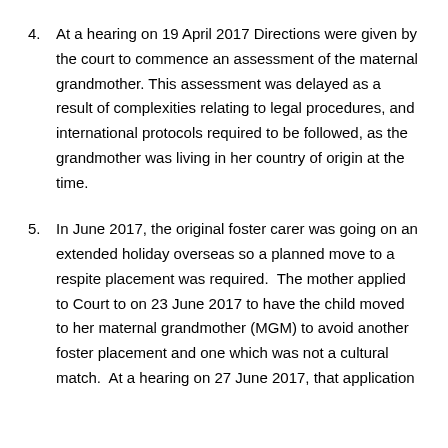4. At a hearing on 19 April 2017 Directions were given by the court to commence an assessment of the maternal grandmother. This assessment was delayed as a result of complexities relating to legal procedures, and international protocols required to be followed, as the grandmother was living in her country of origin at the time.
5. In June 2017, the original foster carer was going on an extended holiday overseas so a planned move to a respite placement was required.  The mother applied to Court to on 23 June 2017 to have the child moved to her maternal grandmother (MGM) to avoid another foster placement and one which was not a cultural match.  At a hearing on 27 June 2017, that application